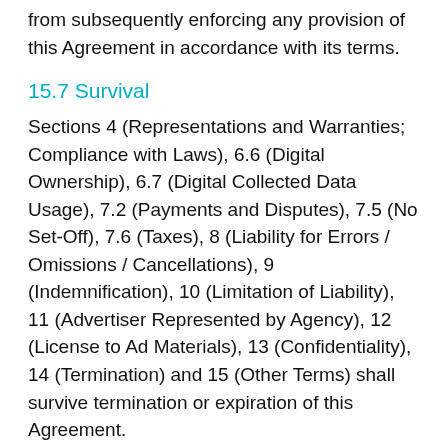from subsequently enforcing any provision of this Agreement in accordance with its terms.
15.7 Survival
Sections 4 (Representations and Warranties; Compliance with Laws), 6.6 (Digital Ownership), 6.7 (Digital Collected Data Usage), 7.2 (Payments and Disputes), 7.5 (No Set-Off), 7.6 (Taxes), 8 (Liability for Errors / Omissions / Cancellations), 9 (Indemnification), 10 (Limitation of Liability), 11 (Advertiser Represented by Agency), 12 (License to Ad Materials), 13 (Confidentiality), 14 (Termination) and 15 (Other Terms) shall survive termination or expiration of this Agreement.
16 Defined Terms – Advertising